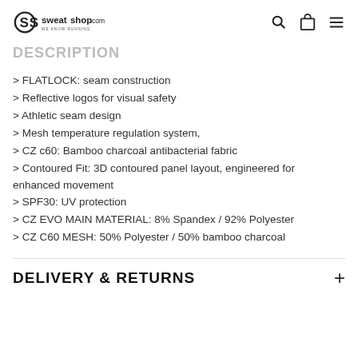sweatshop.com
DESCRIPTION
> FLATLOCK: seam construction
> Reflective logos for visual safety
> Athletic seam design
> Mesh temperature regulation system,
> CZ c60: Bamboo charcoal antibacterial fabric
> Contoured Fit: 3D contoured panel layout, engineered for enhanced movement
> SPF30: UV protection
> CZ EVO MAIN MATERIAL: 8% Spandex / 92% Polyester
> CZ C60 MESH: 50% Polyester / 50% bamboo charcoal
DELIVERY & RETURNS